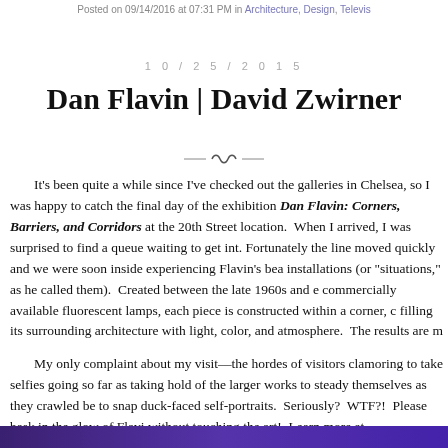Posted on 09/14/2016 at 07:31 PM in Architecture, Design, Televis…
1 0 / 2 5 / 2 0 1 5
Dan Flavin | David Zwirner
It's been quite a while since I've checked out the galleries in Chelsea, so I was happy to catch the final day of the exhibition Dan Flavin: Corners, Barriers, and Corridors at the 20th Street location. When I arrived, I was surprised to find a queue waiting to get inside. Fortunately the line moved quickly and we were soon inside experiencing Flavin's beautiful installations (or "situations," as he called them). Created between the late 1960s and early commercially available fluorescent lamps, each piece is constructed within a corner, corridor filling its surrounding architecture with light, color, and atmosphere. The results are m…
My only complaint about my visit—the hordes of visitors clamoring to take selfies going so far as taking hold of the larger works to steady themselves as they crawled be to snap duck-faced self-portraits. Seriously? WTF?! Please bask in the glow of Flav without touching the art! Learn more at davidzwirner.com. Closed October 24th.